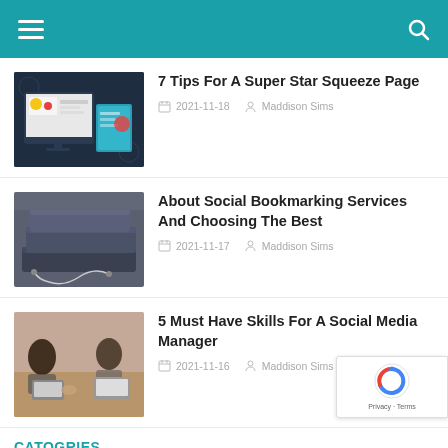Navigation bar with hamburger menu and search icon
[Figure (screenshot): Thumbnail image of computer monitor with website design and notebook, for 7 Tips article]
7 Tips For A Super Star Squeeze Page
2021-11-18   Maddison Sims
[Figure (photo): Thumbnail photo of stacked notebooks with earphones, for Social Bookmarking article]
About Social Bookmarking Services And Choosing The Best
2021-11-17   Maddison Sims
[Figure (photo): Thumbnail photo of women working on laptops at a table, for Social Media Manager article]
5 Must Have Skills For A Social Media Manager
2021-11-16   Maddison Sims
CATOGRIES